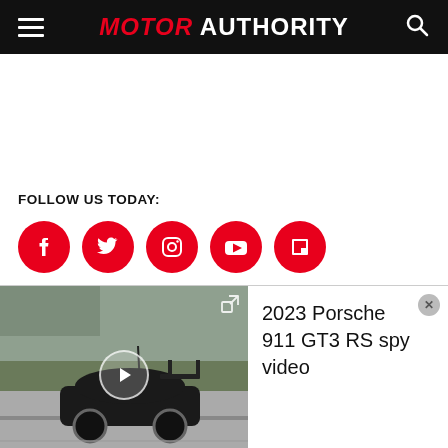MOTOR AUTHORITY
FOLLOW US TODAY:
[Figure (infographic): Five red circular social media icons: Facebook, Twitter, Instagram, YouTube, Flipboard]
[Figure (screenshot): Video thumbnail showing a black Porsche 911 GT3 RS spy car on a road with play button overlay]
2023 Porsche 911 GT3 RS spy video